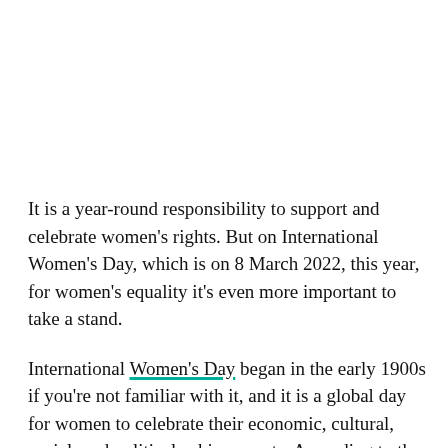It is a year-round responsibility to support and celebrate women's rights. But on International Women's Day, which is on 8 March 2022, this year,  for women's equality it's even more important to take a stand.
International Women's Day began in the early 1900s if you're not familiar with it, and it is a global day for women to celebrate their economic, cultural, social, and political achievements. According to the official IWD website, the day also marks a call to action for accelerating women's equality. We have collected